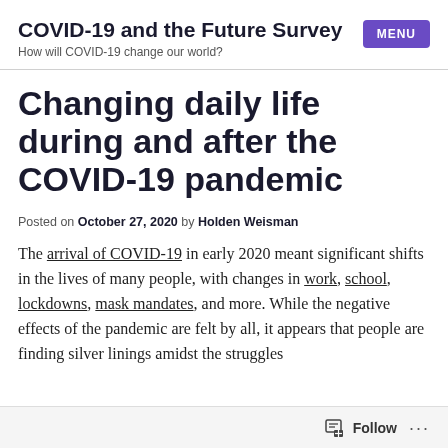COVID-19 and the Future Survey — How will COVID-19 change our world?
Changing daily life during and after the COVID-19 pandemic
Posted on October 27, 2020 by Holden Weisman
The arrival of COVID-19 in early 2020 meant significant shifts in the lives of many people, with changes in work, school, lockdowns, mask mandates, and more. While the negative effects of the pandemic are felt by all, it appears that people are finding silver linings amidst the struggles
Follow